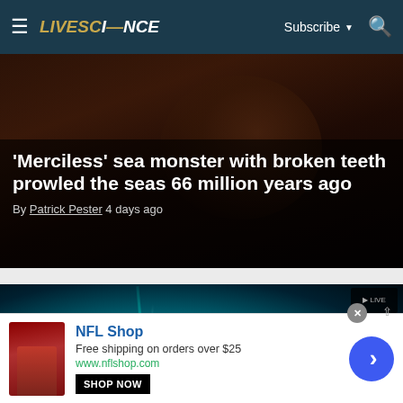LIVESCIENCE — Subscribe / Search
[Figure (photo): Dark underwater/prehistoric scene with creature silhouette]
'Merciless' sea monster with broken teeth prowled the seas 66 million years ago
By Patrick Pester 4 days ago
[Figure (photo): Solar flare image in teal/cyan showing intense light burst from sun surface with small inset overlay]
Powerful solar flare lashes Earth
NFL Shop — Free shipping on orders over $25 — www.nflshop.com — SHOP NOW